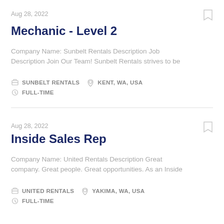Aug 28, 2022
Mechanic - Level 2
Company Name: Sunbelt Rentals Description Job Description Join Our Team! Sunbelt Rentals strives to be
SUNBELT RENTALS   KENT, WA, USA   FULL-TIME
Aug 28, 2022
Inside Sales Rep
Company Name: United Rentals Description Great company. Great people. Great opportunities. As an Inside
UNITED RENTALS   YAKIMA, WA, USA   FULL-TIME